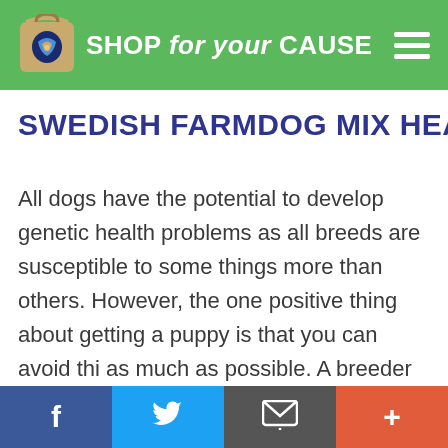SHOP for your CAUSE
SWEDISH FARMDOG MIX HEALT
All dogs have the potential to develop genetic health problems as all breeds are susceptible to some things more than others. However, the one positive thing about getting a puppy is that you can avoid this as much as possible. A breeder should absolutely offer a health guarantee on puppies. If they won't do this, then look no more and don't consider that breeder at all. A reputable breeder will be honest and open about health problems in the breed and the incidence with which they occur. We obviously
f  [twitter bird]  [email icon]  +